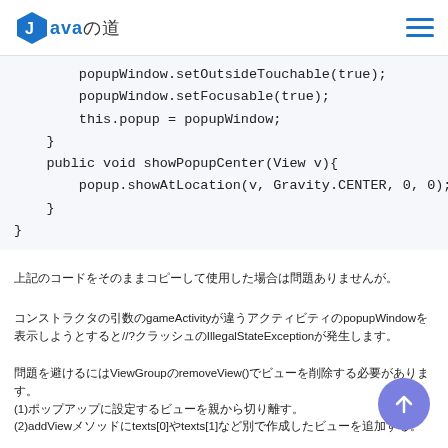Javaの道
popupWindow.setOutsideTouchable(true);
        popupWindow.setFocusable(true);
        this.popup = popupWindow;
    }
    public void showPopupCenter(View v){
        popup.showAtLocation(v, Gravity.CENTER, 0, 0);
    }
}
上記のコードをそのままコピーして使用した場合は問題ありませんが。
コンストラクタの引数のgameActivityが違うアクティビティのpopupWindowを表示しようとすると//?クラッシュのIllegalStateExceptionが発生します。
問題を避けるにはViewGroupのremoveView()でビューを削除する必要があります。
(1)ポップアップに設定するビューを親から切り離す。
(2)addViewメソッドにtexts[0]やtexts[1]など別で作成したビューを追加する。